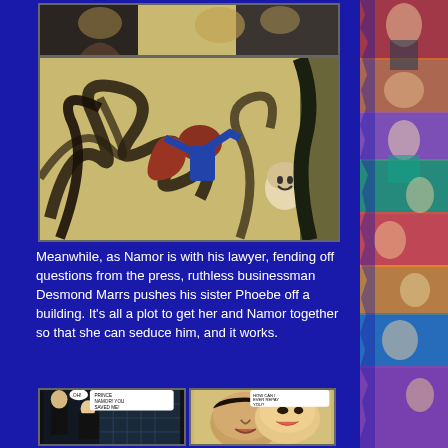[Figure (illustration): Comic panel showing a dramatic scene with figures amid dark swirling shapes, one character in red costume and another pale figure]
[Figure (illustration): Comic panel showing two scenes: a woman falling from a building caught by a man (speech bubble: 'PRINCE NAMOR! YOU SAVED ME!'), and a close-up of two faces about to kiss (speech bubble: 'HOW CAN I EVER REPAY YOU?')]
Meanwhile, as Namor is with his lawyer, fending off questions from the press, ruthless businessman Desmond Marrs pushes his sister Phoebe off a building. It's all a plot to get her and Namor together so that she can seduce him, and it works.